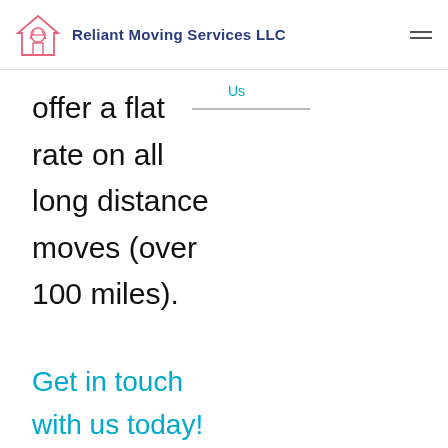Reliant Moving Services LLC
Us
offer a flat rate on all long distance moves (over 100 miles).
Get in touch with us today!